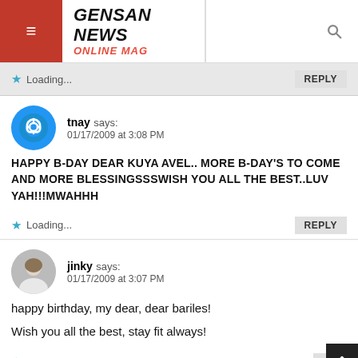GENSAN NEWS ONLINE MAG
Loading...
tnay says:
01/17/2009 at 3:08 PM
HAPPY B-DAY DEAR KUYA AVEL.. MORE B-DAY'S TO COME AND MORE BLESSINGSSSWISH YOU ALL THE BEST..LUV YAH!!!MWAHHH
Loading...
jinky says:
01/17/2009 at 3:07 PM
happy birthday, my dear, dear bariles!
Wish you all the best, stay fit always!
Loading...